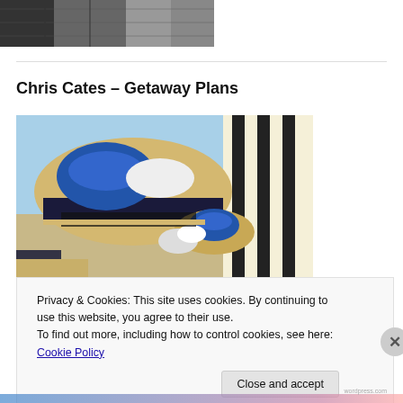[Figure (photo): Partial photo at top of page, dark/monochrome image cropped]
Chris Cates – Getaway Plans
[Figure (photo): Beach cabanas with blue and white striped canopies and blue cushioned loungers under a clear sky]
Privacy & Cookies: This site uses cookies. By continuing to use this website, you agree to their use.
To find out more, including how to control cookies, see here: Cookie Policy
Close and accept